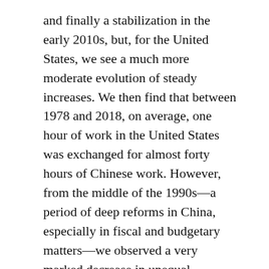and finally a stabilization in the early 2010s, but, for the United States, we see a much more moderate evolution of steady increases. We then find that between 1978 and 2018, on average, one hour of work in the United States was exchanged for almost forty hours of Chinese work. However, from the middle of the 1990s—a period of deep reforms in China, especially in fiscal and budgetary matters—we observed a very marked decrease in unequal exchange, without it completely disappearing. In 2018, 6.4 hours of Chinese labor were still exchanged for 1 hour of U.S. labor. Could the erosion of this U.S. trade advantage then explain the outbreak of its trade war against China?